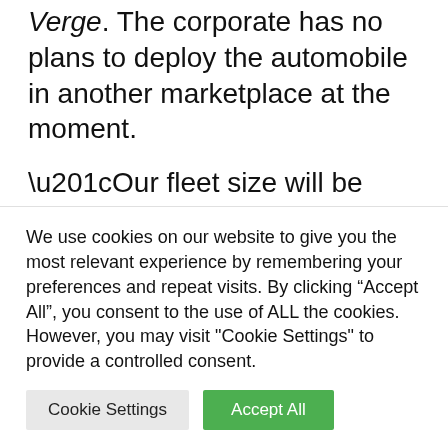Verge. The corporate has no plans to deploy the automobile in another marketplace at the moment.
“Our fleet size will be variable as we’re ramping up and we’ll scale with demand,” Murphy mentioned. “We anticipate having several hundred Citras available this summer, topping out at 500 if we see the strong ridership we expect.”
We use cookies on our website to give you the most relevant experience by remembering your preferences and repeat visits. By clicking “Accept All”, you consent to the use of ALL the cookies. However, you may visit "Cookie Settings" to provide a controlled consent.